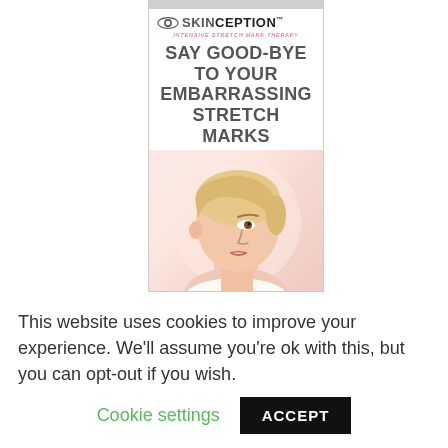[Figure (advertisement): Skinception Intensive Stretch Mark Therapy advertisement banner. Shows the Skinception logo at top, tagline 'INTENSIVE STRETCH MARK THERAPY', headline 'SAY GOOD-BYE TO YOUR EMBARRASSING STRETCH MARKS', and a photo of a blonde woman looking upward.]
This website uses cookies to improve your experience. We'll assume you're ok with this, but you can opt-out if you wish. Cookie settings ACCEPT